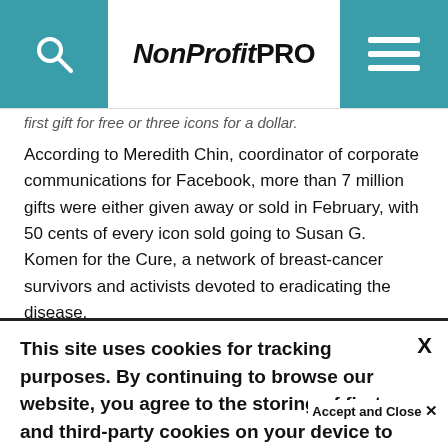NonProfit PRO
first gift for free or three icons for a dollar.
According to Meredith Chin, coordinator of corporate communications for Facebook, more than 7 million gifts were either given away or sold in February, with 50 cents of every icon sold going to Susan G. Komen for the Cure, a network of breast-cancer survivors and activists devoted to eradicating the disease.
This site uses cookies for tracking purposes. By continuing to browse our website, you agree to the storing of first- and third-party cookies on your device to enhance site navigation, analyze site usage, and assist in our marketing and
Accept and Close ✕
Your browser settings do not allow cross-site tracking for advertising. Click on this page to allow AdRoll to use cross-site tracking to tailor ads to you. Learn more or opt out of this AdRoll tracking by clicking here. This message only appears once.